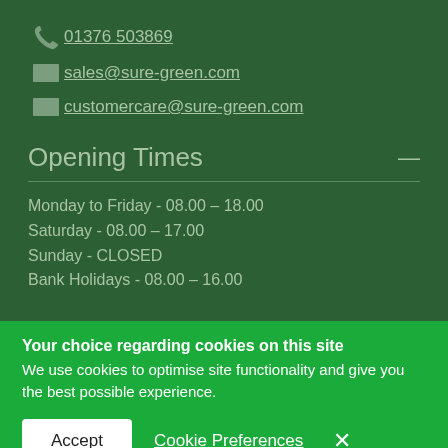01376 503869
sales@sure-green.com
customercare@sure-green.com
Opening Times
Monday to Friday - 08.00 – 18.00
Saturday - 08.00 – 17.00
Sunday - CLOSED
Bank Holidays - 08.00 – 16.00
Your choice regarding cookies on this site
We use cookies to optimise site functionality and give you the best possible experience.
Accept
Cookie Preferences